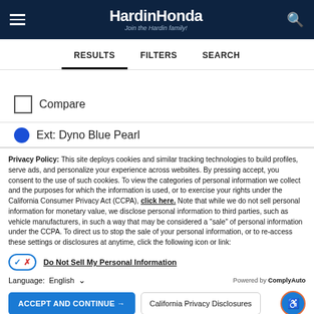[Figure (logo): HardinHonda logo with tagline 'Join the Hardin family!' on dark navy header bar]
RESULTS   FILTERS   SEARCH
Compare
Ext: Dyno Blue Pearl
Privacy Policy: This site deploys cookies and similar tracking technologies to build profiles, serve ads, and personalize your experience across websites. By pressing accept, you consent to the use of such cookies. To view the categories of personal information we collect and the purposes for which the information is used, or to exercise your rights under the California Consumer Privacy Act (CCPA), click here. Note that while we do not sell personal information for monetary value, we disclose personal information to third parties, such as vehicle manufacturers, in such a way that may be considered a "sale" of personal information under the CCPA. To direct us to stop the sale of your personal information, or to re-access these settings or disclosures at anytime, click the following icon or link:
Do Not Sell My Personal Information
Language: English
Powered by ComplyAuto
ACCEPT AND CONTINUE →   California Privacy Disclosures